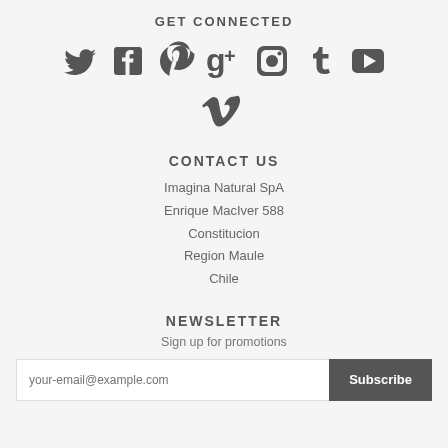GET CONNECTED
[Figure (infographic): Row of social media icons: Twitter, Facebook, Pinterest, Google+, Instagram, Tumblr, YouTube, and Vimeo]
CONTACT US
Imagina Natural SpA
Enrique MacIver 588
Constitucion
Region Maule
Chile
NEWSLETTER
Sign up for promotions